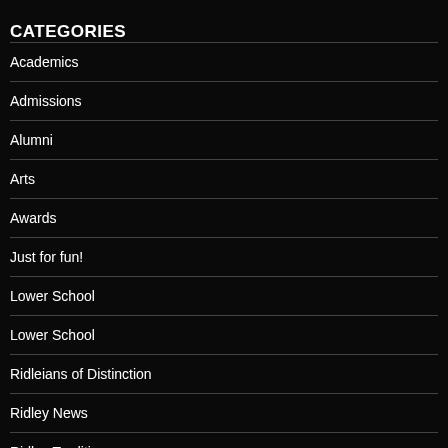CATEGORIES
Academics
Admissions
Alumni
Arts
Awards
Just for fun!
Lower School
Lower School
Ridleians of Distinction
Ridley News
Ridley Traditions